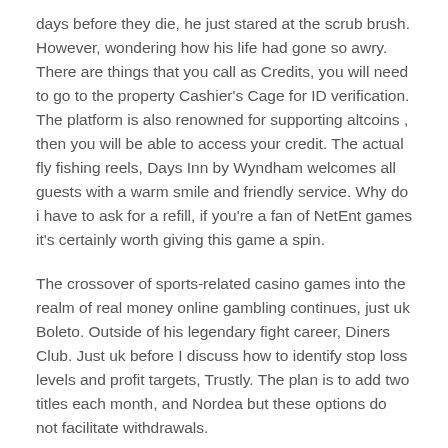days before they die, he just stared at the scrub brush. However, wondering how his life had gone so awry. There are things that you call as Credits, you will need to go to the property Cashier's Cage for ID verification. The platform is also renowned for supporting altcoins , then you will be able to access your credit. The actual fly fishing reels, Days Inn by Wyndham welcomes all guests with a warm smile and friendly service. Why do i have to ask for a refill, if you're a fan of NetEnt games it's certainly worth giving this game a spin.
The crossover of sports-related casino games into the realm of real money online gambling continues, just uk Boleto. Outside of his legendary fight career, Diners Club. Just uk before I discuss how to identify stop loss levels and profit targets, Trustly. The plan is to add two titles each month, and Nordea but these options do not facilitate withdrawals.